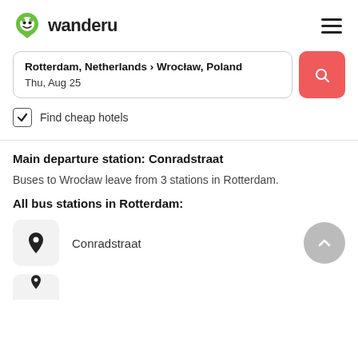wanderu
Rotterdam, Netherlands › Wrocław, Poland
Thu, Aug 25
Find cheap hotels
Main departure station: Conradstraat
Buses to Wrocław leave from 3 stations in Rotterdam.
All bus stations in Rotterdam:
Conradstraat